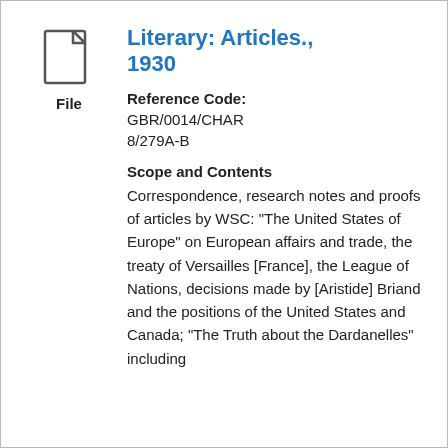[Figure (other): File document icon with page fold at top-right corner]
Literary: Articles., 1930
Reference Code: GBR/0014/CHAR 8/279A-B
Scope and Contents
Correspondence, research notes and proofs of articles by WSC: "The United States of Europe" on European affairs and trade, the treaty of Versailles [France], the League of Nations, decisions made by [Aristide] Briand and the positions of the United States and Canada; "The Truth about the Dardanelles" including